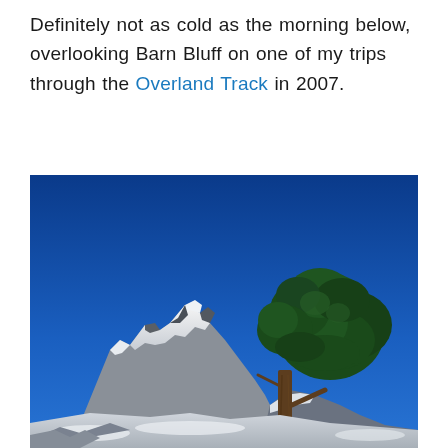Definitely not as cold as the morning below, overlooking Barn Bluff on one of my trips through the Overland Track in 2007.
[Figure (photo): Outdoor photograph showing a snow-dusted mountain peak (Barn Bluff) on the left and a large green tree with a bare trunk on the right, set against a vivid deep-blue sky. The foreground shows snow-covered rocky terrain.]